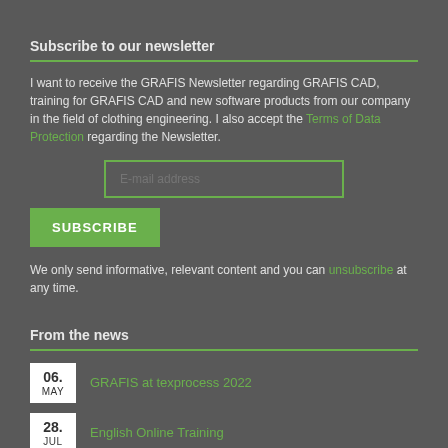Subscribe to our newsletter
I want to receive the GRAFIS Newsletter regarding GRAFIS CAD, training for GRAFIS CAD and new software products from our company in the field of clothing engineering. I also accept the Terms of Data Protection regarding the Newsletter.
[Figure (other): E-mail address input field with green border]
[Figure (other): Green SUBSCRIBE button]
We only send informative, relevant content and you can unsubscribe at any time.
From the news
06. MAY — GRAFIS at texprocess 2022
28. JUL — English Online Training